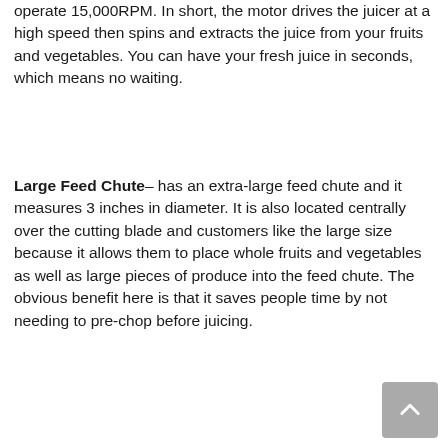operate 15,000RPM. In short, the motor drives the juicer at a high speed then spins and extracts the juice from your fruits and vegetables. You can have your fresh juice in seconds, which means no waiting.
Large Feed Chute– has an extra-large feed chute and it measures 3 inches in diameter. It is also located centrally over the cutting blade and customers like the large size because it allows them to place whole fruits and vegetables as well as large pieces of produce into the feed chute. The obvious benefit here is that it saves people time by not needing to pre-chop before juicing.